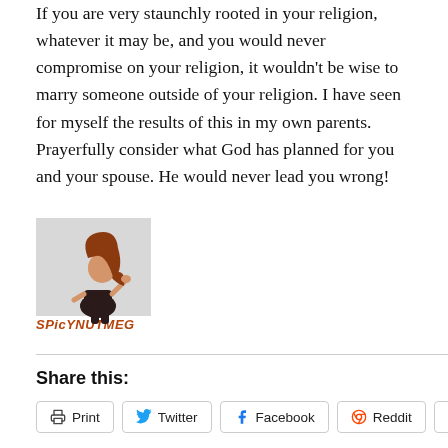If you are very staunchly rooted in your religion, whatever it may be, and you would never compromise on your religion, it wouldn't be wise to marry someone outside of your religion. I have seen for myself the results of this in my own parents. Prayerfully consider what God has planned for you and your spouse. He would never lead you wrong!
[Figure (illustration): Cartoon illustration of a woman with red hair in a black outfit, posed stylishly, with a gray rectangular background. Below the image the text 'SPICYNUTMEG' appears in bold red-brown italic letters.]
Share this:
Print
Twitter
Facebook
Reddit
Email